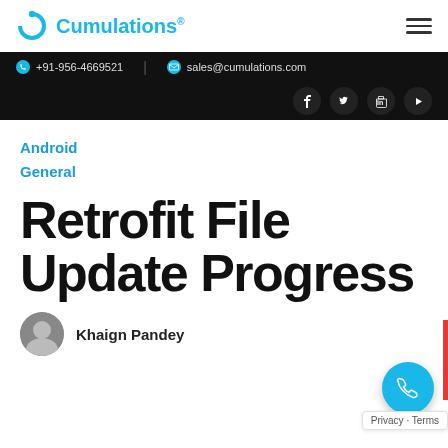Cumulations®
+91-956-4669521 | sales@cumulations.com
Android
General
Retrofit File Update Progress
Khaign Pandey